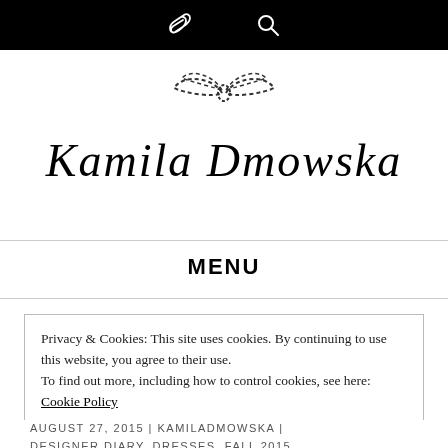Navigation bar with link and search icons
[Figure (logo): Dashed bow tie illustration logo above 'Kamila Dmowska' script brand name]
Kamila Dmowska
MENU
Privacy & Cookies: This site uses cookies. By continuing to use this website, you agree to their use.
To find out more, including how to control cookies, see here: Cookie Policy
[Close and accept button]
AUGUST 27, 2015 | KAMILADMOWSKA | DESIGNER DIARY, DRESSES, FALL 2015,